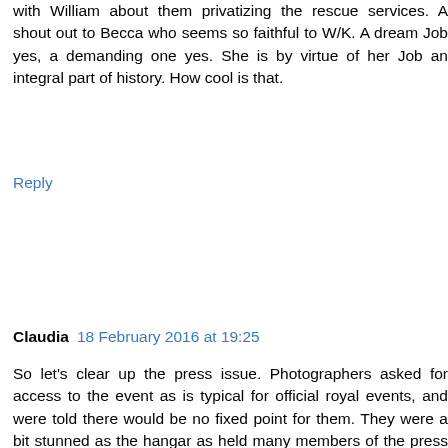with William about them privatizing the rescue services. A shout out to Becca who seems so faithful to W/K. A dream Job yes, a demanding one yes. She is by virtue of her Job an integral part of history. How cool is that.
Reply
Claudia  18 February 2016 at 19:25
So let's clear up the press issue. Photographers asked for access to the event as is typical for official royal events, and were told there would be no fixed point for them. They were a bit stunned as the hangar as held many members of the press at previous events, and the RAF is usually hugely accommodating and helpful to the press. (as are most military depts, they want good coverage and attention)
When the press pushed them as to why the change they were told "it's been imposed upon us by KP". Why? Who knows. Probably punishment for some perceived slight on William's end. I'm boring myself now at how many times I need to say I'm bewildered by their communications